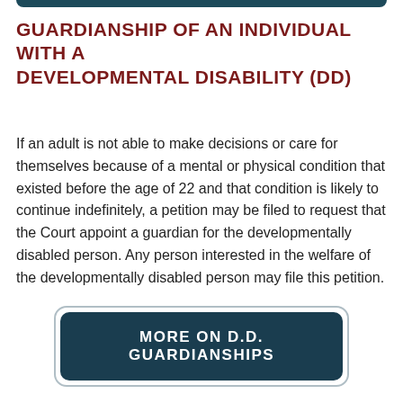GUARDIANSHIP OF AN INDIVIDUAL WITH A DEVELOPMENTAL DISABILITY (DD)
If an adult is not able to make decisions or care for themselves because of a mental or physical condition that existed before the age of 22 and that condition is likely to continue indefinitely, a petition may be filed to request that the Court appoint a guardian for the developmentally disabled person. Any person interested in the welfare of the developmentally disabled person may file this petition.
MORE ON D.D. GUARDIANSHIPS